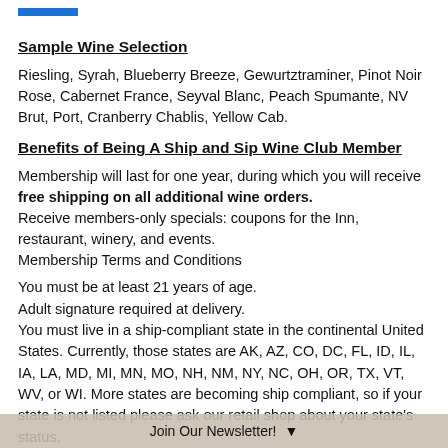Sample Wine Selection
Riesling, Syrah, Blueberry Breeze, Gewurtztraminer, Pinot Noir Rose, Cabernet France, Seyval Blanc, Peach Spumante, NV Brut, Port, Cranberry Chablis, Yellow Cab.
Benefits of Being A Ship and Sip Wine Club Member
Membership will last for one year, during which you will receive free shipping on all additional wine orders. Receive members-only specials: coupons for the Inn, restaurant, winery, and events. Membership Terms and Conditions
You must be at least 21 years of age. Adult signature required at delivery. You must live in a ship-compliant state in the continental United States. Currently, those states are AK, AZ, CO, DC, FL, ID, IL, IA, LA, MD, MI, MN, MO, NH, NM, NY, NC, OH, OR, TX, VT, WV, or WI. More states are becoming ship compliant, so if your state is not listed please ask our retail shop about your state's status. There will be additional charges if package is returned to Glenora